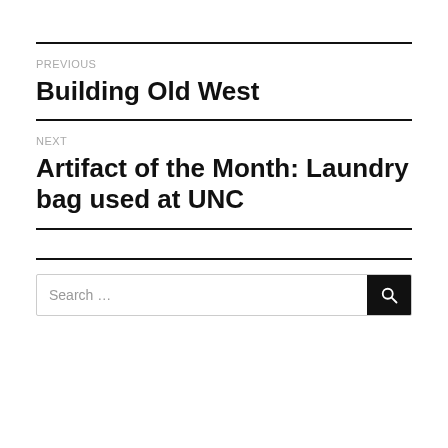PREVIOUS
Building Old West
NEXT
Artifact of the Month: Laundry bag used at UNC
Search ...